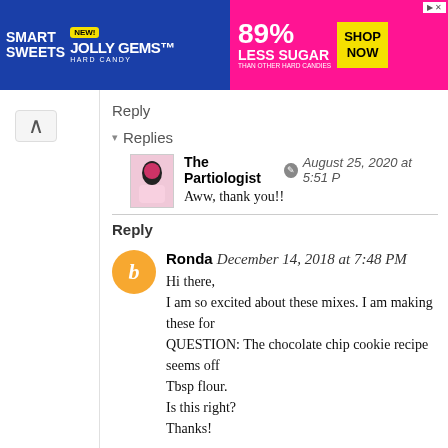[Figure (other): Smart Sweets Jolly Gems advertisement banner: blue and pink background, '89% LESS SUGAR THAN OTHER HARD CANDIES', SHOP NOW button]
Reply
▾ Replies
The Partiologist  August 25, 2020 at 5:51 P
Aww, thank you!!
Reply
Ronda  December 14, 2018 at 7:48 PM
Hi there,
I am so excited about these mixes. I am making these for
QUESTION: The chocolate chip cookie recipe seems off
Tbsp flour.
Is this right?
Thanks!